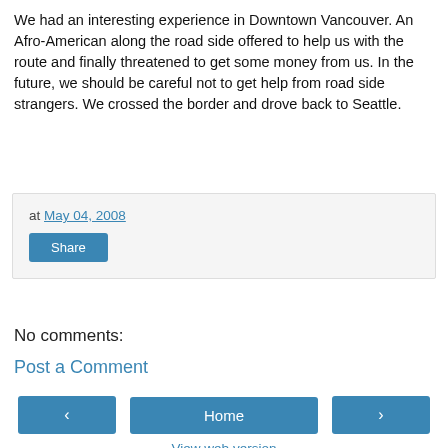We had an interesting experience in Downtown Vancouver. An Afro-American along the road side offered to help us with the route and finally threatened to get some money from us. In the future, we should be careful not to get help from road side strangers. We crossed the border and drove back to Seattle.
at May 04, 2008
Share
No comments:
Post a Comment
‹
Home
›
View web version
Powered by Blogger.